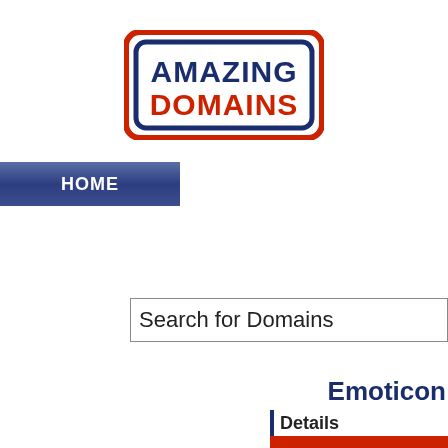[Figure (logo): Amazing Domains logo with red rounded rectangle border on left and blue rounded rectangle border on right, text AMAZING in dark blue and DOMAINS in red, bold sans-serif font]
HOME
Search for Domains
Emoticon
Details